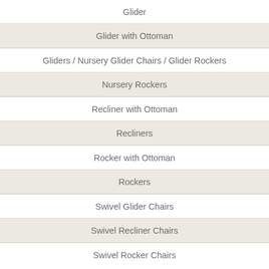Glider
Glider with Ottoman
Gliders / Nursery Glider Chairs / Glider Rockers
Nursery Rockers
Recliner with Ottoman
Recliners
Rocker with Ottoman
Rockers
Swivel Glider Chairs
Swivel Recliner Chairs
Swivel Rocker Chairs